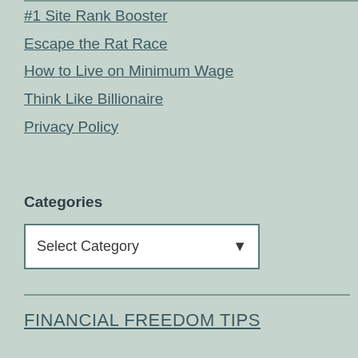#1 Site Rank Booster
Escape the Rat Race
How to Live on Minimum Wage
Think Like Billionaire
Privacy Policy
Categories
Select Category
FINANCIAL FREEDOM TIPS